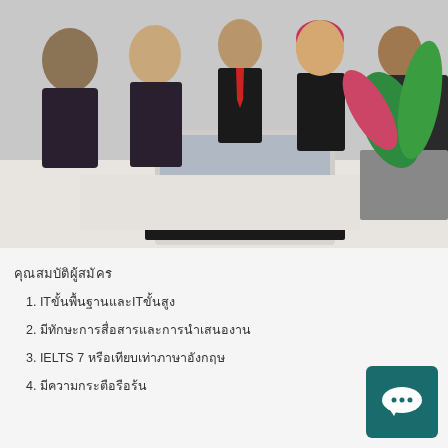[Figure (photo): Group of young professionals in business attire gathered around a white ASUS laptop on a desk, with a potted plant in the foreground. Office setting.]
คุณสมบัติผู้สมัคร
1. ITขั้นพื้นฐานและITขั้นสูง
2. มีทักษะการสื่อสารและการนำเสนองาน
3. IELTS 7 หรือเทียบเท่าภาษาอังกฤษ
4. มีความกระตือรือร้น